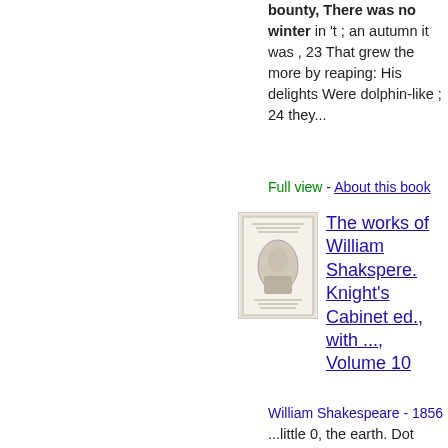bounty, There was no winter in 't ; an autumn it was , 23 That grew the more by reaping: His delights Were dolphin-like ; 24 they...
Full view - About this book
[Figure (illustration): Book cover thumbnail of The works of William Shakspere, Knight's Cabinet edition]
The works of William Shakspere. Knight's Cabinet ed., with ..., Volume 10
William Shakespeare - 1856
...little 0, the earth. Dot Most sovereign creature, — Cleo. His legs bestrid